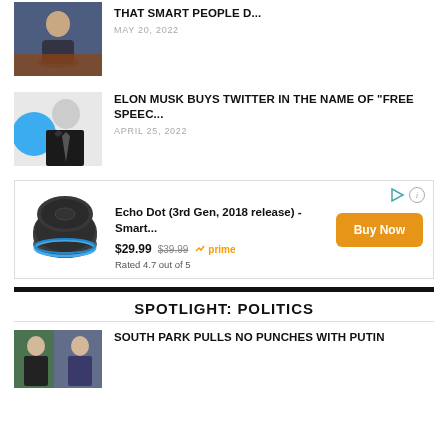[Figure (photo): TV show thumbnail - person seated in chair on stage]
THAT SMART PEOPLE D...
MAY 20, 2022
[Figure (photo): Black and white portrait of Elon Musk]
ELON MUSK BUYS TWITTER IN THE NAME OF "FREE SPEEC...
APRIL 25, 2022
[Figure (photo): Amazon Echo Dot 3rd Generation smart speaker advertisement. Price $29.99 strikethrough $39.99, Prime eligible. Rated 4.7 out of 5. Buy Now button.]
SPOTLIGHT: POLITICS
[Figure (photo): South Park pulls no punches with Putin - TV still image]
SOUTH PARK PULLS NO PUNCHES WITH PUTIN